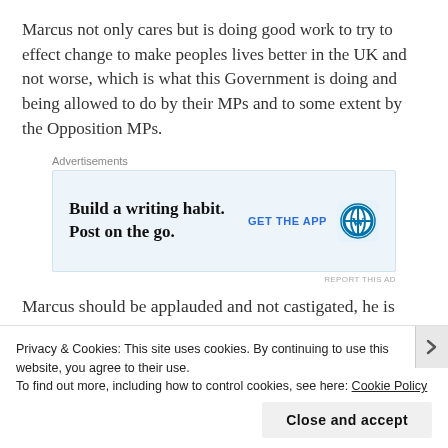Marcus not only cares but is doing good work to try to effect change to make peoples lives better in the UK and not worse, which is what this Government is doing and being allowed to do by their MPs and to some extent by the Opposition MPs.
[Figure (other): Advertisement banner: 'Build a writing habit. Post on the go.' with WordPress logo and 'GET THE APP' call to action.]
Marcus should be applauded and not castigated, he is supporting people with their Human Rights, not taking them away which this Government is doing.
Privacy & Cookies: This site uses cookies. By continuing to use this website, you agree to their use.
To find out more, including how to control cookies, see here: Cookie Policy